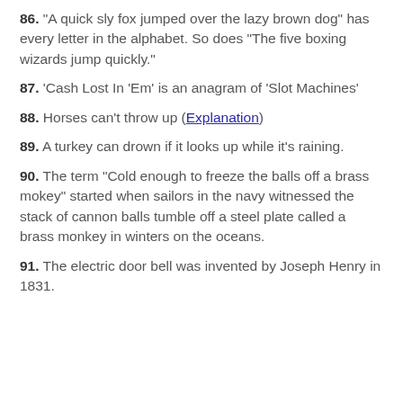86. "A quick sly fox jumped over the lazy brown dog" has every letter in the alphabet. So does "The five boxing wizards jump quickly."
87. 'Cash Lost In 'Em' is an anagram of 'Slot Machines'
88. Horses can't throw up (Explanation)
89. A turkey can drown if it looks up while it's raining.
90. The term "Cold enough to freeze the balls off a brass mokey" started when sailors in the navy witnessed the stack of cannon balls tumble off a steel plate called a brass monkey in winters on the oceans.
91. The electric door bell was invented by Joseph Henry in 1831.